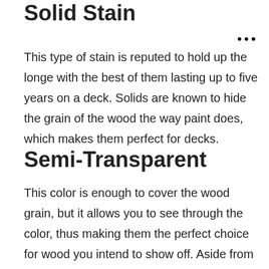Solid Stain
This type of stain is reputed to hold up the longe with the best of them lasting up to five years on a deck. Solids are known to hide the grain of the wood the way paint does, which makes them perfect for decks.
Semi-Transparent
This color is enough to cover the wood grain, but it allows you to see through the color, thus making them the perfect choice for wood you intend to show off. Aside from the regular transparent stains, certain brands offer what is referred to as toners and semi-solid stains. These options work similarly by giving